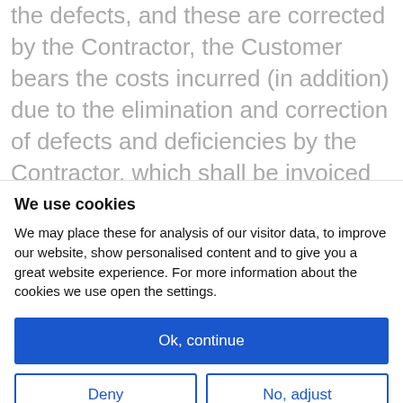the defects, and these are corrected by the Contractor, the Customer bears the costs incurred (in addition) due to the elimination and correction of defects and deficiencies by the Contractor, which shall be invoiced to the Customer according to actual costs at the rate of 60.00 EUR/ 1 hour of Work. Defects and deficiencies of production documents are usually corrected by the Customer. The
We use cookies
We may place these for analysis of our visitor data, to improve our website, show personalised content and to give you a great website experience. For more information about the cookies we use open the settings.
Ok, continue
Deny
No, adjust